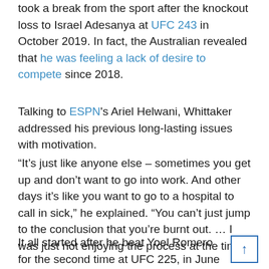took a break from the sport after the knockout loss to Israel Adesanya at UFC 243 in October 2019. In fact, the Australian revealed that he was feeling a lack of desire to compete since 2018.
Talking to ESPN's Ariel Helwani, Whittaker addressed his previous long-lasting issues with motivation.
“It’s just like anyone else – sometimes you get up and don’t want to go into work. And other days it’s like you want to go to a hospital to call in sick,” he explained. “You can’t just jump to the conclusion that you’re burnt out. … I was just not enjoying the process at the time.”
It all started after he beat Yoel Romero for the second time at UFC 225, in June of 2018.